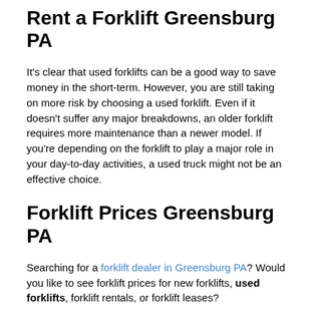Rent a Forklift Greensburg PA
It's clear that used forklifts can be a good way to save money in the short-term. However, you are still taking on more risk by choosing a used forklift. Even if it doesn't suffer any major breakdowns, an older forklift requires more maintenance than a newer model. If you're depending on the forklift to play a major role in your day-to-day activities, a used truck might not be an effective choice.
Forklift Prices Greensburg PA
Searching for a forklift dealer in Greensburg PA? Would you like to see forklift prices for new forklifts, used forklifts, forklift rentals, or forklift leases?